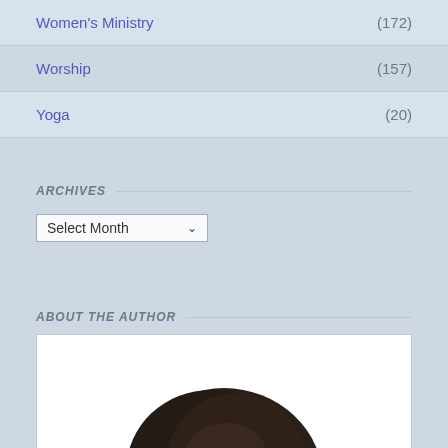Women's Ministry (172)
Worship (157)
Yoga (20)
ARCHIVES
Select Month
ABOUT THE AUTHOR
[Figure (photo): Partial photo of a person showing dark hair, close-cropped, top of head visible against white background]